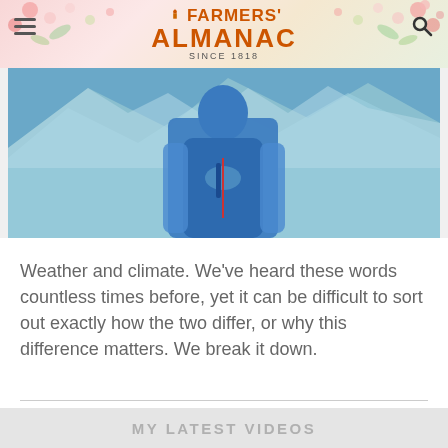FARMERS' ALMANAC — SINCE 1818
[Figure (photo): Person wearing a blue jacket outdoors with a mountainous, icy background. The person appears to be fastening or adjusting their jacket zipper.]
Weather and climate. We've heard these words countless times before, yet it can be difficult to sort out exactly how the two differ, or why this difference matters. We break it down.
MY LATEST VIDEOS